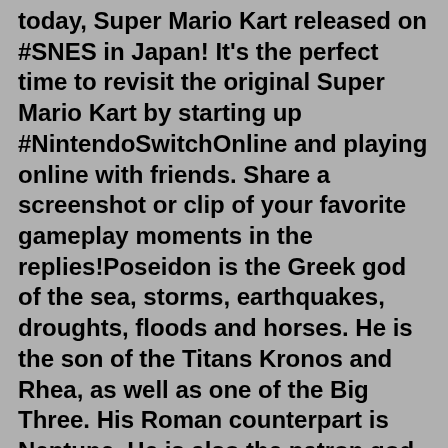today, Super Mario Kart released on #SNES in Japan! It's the perfect time to revisit the original Super Mario Kart by starting up #NintendoSwitchOnline and playing online with friends. Share a screenshot or clip of your favorite gameplay moments in the replies!Poseidon is the Greek god of the sea, storms, earthquakes, droughts, floods and horses. He is the son of the Titans Kronos and Rhea, as well as one of the Big Three. His Roman counterpart is Neptune. He is also the patron god of Corinth and his cabin in Camp Half-Blood. Poseidon was the second male and fifth child of Kronos, the Titan King of Mount Othrys, and his sister-wife Rhea, born after ...Cell (Dragon Ball series) is a Bio-Android created by Dr. Gero to be the perfect weapon. Nizō Okada (Gintama) completely fuses with the high-tech anti-aircraft bio-weapon, Benizakura. Sasuke Uchiha (Naruto) when he activates the Cursed Seal of Heaven. Jūgo (Naruto) in the process of mutating himself via his enzymes.Captain America: Civil War (2016) Two superhero teams, led by Steve Rogers and Tony Stark, come into conflict over the Sokovia Accords.